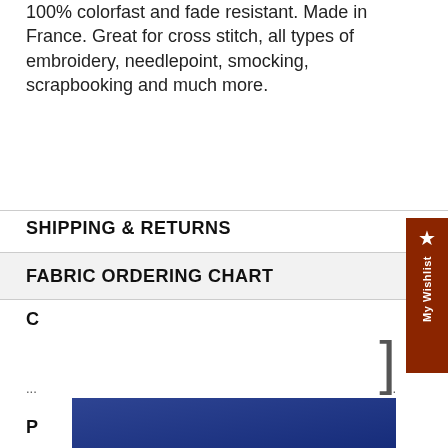100% colorfast and fade resistant. Made in France. Great for cross stitch, all types of embroidery, needlepoint, smocking, scrapbooking and much more.
SHIPPING & RETURNS
FABRIC ORDERING CHART
C
...                                                                  ...
P
]
[Figure (photo): Partial view of a photo at the bottom of the page, appears to be a blue/dark colored fabric or embroidery related image]